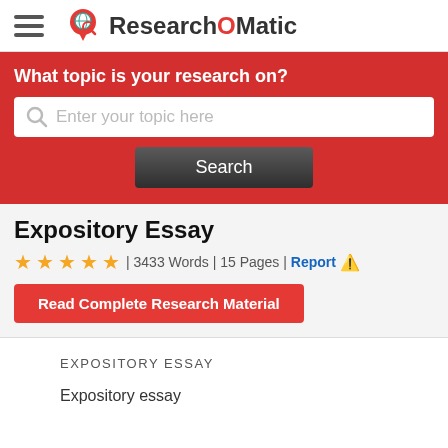[Figure (logo): ResearchOMatic logo with hamburger menu icon — circular globe icon with magnifying glass and red pin, bold text 'ResearchOMatic']
What topic is your research on?
Enter your topic here
Search
Expository Essay
★★★★☆ | 3433 Words | 15 Pages | Report ⚠
Read Complete Research Material
EXPOSITORY ESSAY
Expository essay